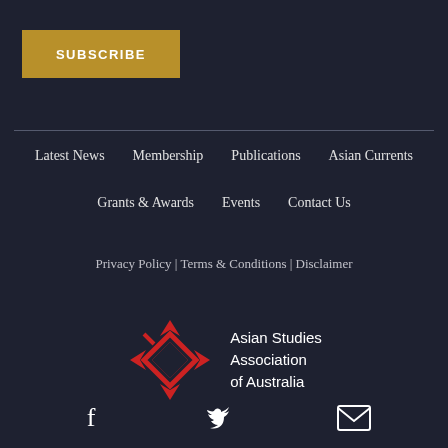SUBSCRIBE
Latest News
Membership
Publications
Asian Currents
Grants & Awards
Events
Contact Us
Privacy Policy | Terms & Conditions | Disclaimer
[Figure (logo): Asian Studies Association of Australia logo with red diamond arrow symbol and text]
[Figure (infographic): Social media icons: Facebook, Twitter, Email]